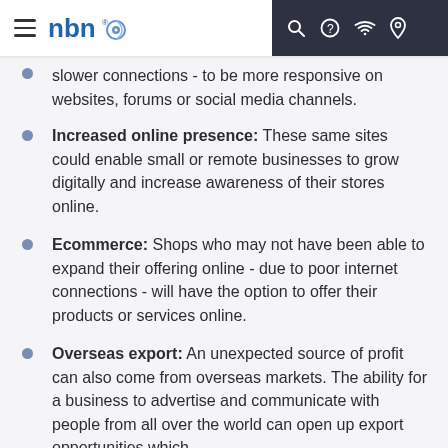nbn (logo)
slower connections - to be more responsive on websites, forums or social media channels.
Increased online presence: These same sites could enable small or remote businesses to grow digitally and increase awareness of their stores online.
Ecommerce: Shops who may not have been able to expand their offering online - due to poor internet connections - will have the option to offer their products or services online.
Overseas export: An unexpected source of profit can also come from overseas markets. The ability for a business to advertise and communicate with people from all over the world can open up export opportunities which